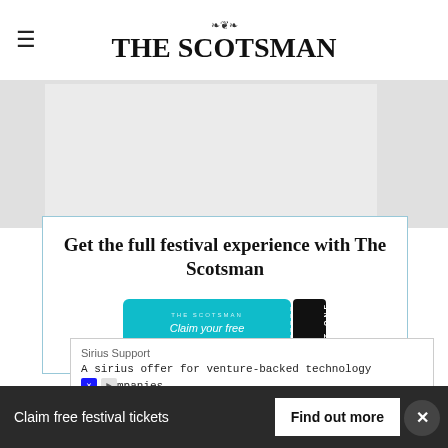THE SCOTSMAN
[Figure (screenshot): Gray advertisement/banner placeholder area]
Get the full festival experience with The Scotsman
[Figure (illustration): Festival ticket image — teal ticket with 'THE SCOTSMAN Claim your free TICKETS' and black admit-one stub]
Sirius Support
A sirius offer for venture-backed technology companies
Celebrate 75 years of the Edinburgh
Claim free festival tickets   Find out more   ×